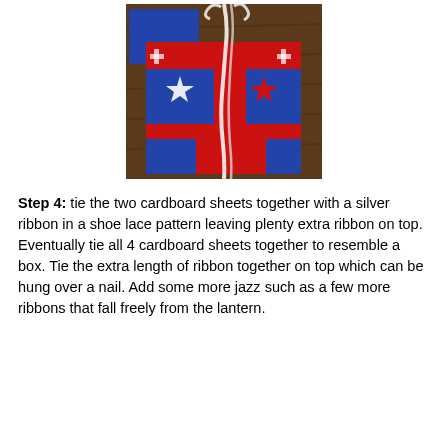[Figure (photo): Photo of red, white, and blue patriotic gift bag or lantern made from cardboard sheets with star patterns, tied together with a silver/white ribbon at the top on a wooden surface]
Step 4: tie the two cardboard sheets together with a silver ribbon in a shoe lace pattern leaving plenty extra ribbon on top. Eventually tie all 4 cardboard sheets together to resemble a box. Tie the extra length of ribbon together on top which can be hung over a nail. Add some more jazz such as a few more ribbons that fall freely from the lantern.